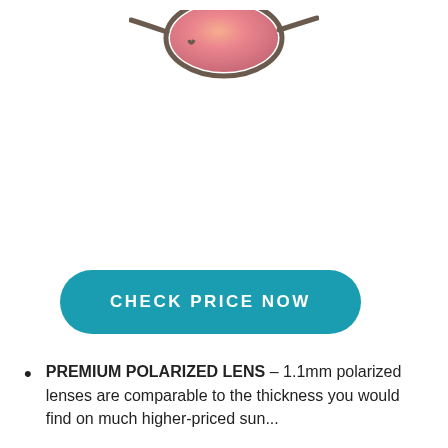[Figure (photo): Partial view of sunglasses with pinkish-rose mirrored lens and dark frame, cropped at top of page]
[Figure (other): Teal/turquoise rounded pill-shaped button with white uppercase text reading CHECK PRICE NOW]
PREMIUM POLARIZED LENS – 1.1mm polarized lenses are comparable to the thickness you would find on much higher-priced sunglasses.